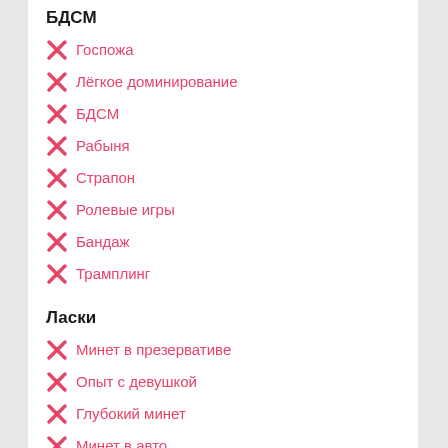БДСМ
Госпожа
Лёгкое доминирование
БДСМ
Рабыня
Страпон
Ролевые игры
Бандаж
Трамплинг
Ласки
Минет в презервативе
Опыт с девушкой
Глубокий минет
Минет в авто
Куннилингус
Анилингус
Фистинг